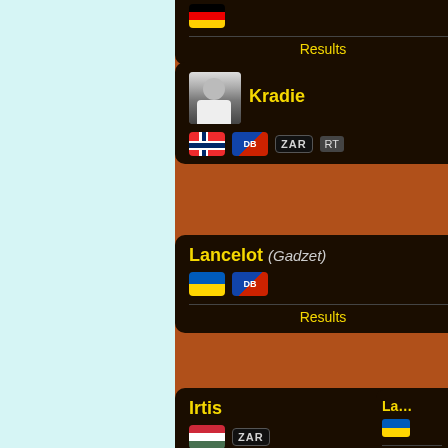Inzomie (mEu)
Results
Kradie
RT
Lancelot (Gadzet)
Results
Irtis
Kevin04
Results